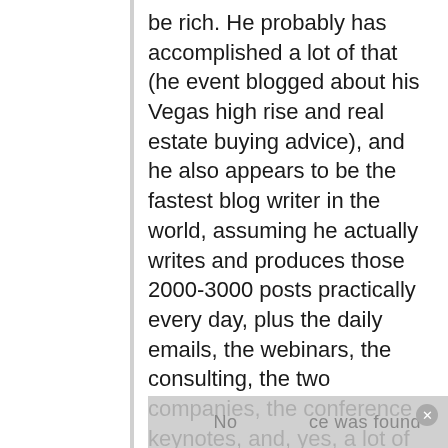be rich. He probably has accomplished a lot of that (he event blogged about his Vegas high rise and real estate buying advice), and he also appears to be the fastest blog writer in the world, assuming he actually writes and produces those 2000-3000 posts practically every day, plus the daily emails, the webinars, the consulting, the two companies, the conference keynotes, and, yes, a lot of videos.
But accent? Au contraire. Watch this video from 2013. That's a plain vanilla SoCal (Orange County) accent. Because...he'was raised there.
https://youtu.be/kikSNGtd_80